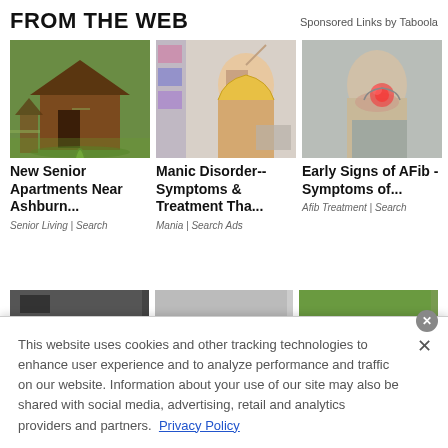FROM THE WEB
Sponsored Links by Taboola
[Figure (photo): Wooden cabin/bungalow with garden path]
[Figure (photo): Woman stretching arms in a room with shelves]
[Figure (photo): Person holding chest (heart-related image with red highlight)]
New Senior Apartments Near Ashburn...
Manic Disorder-- Symptoms & Treatment Tha...
Early Signs of AFib - Symptoms of...
Senior Living | Search
Mania | Search Ads
Afib Treatment | Search
This website uses cookies and other tracking technologies to enhance user experience and to analyze performance and traffic on our website. Information about your use of our site may also be shared with social media, advertising, retail and analytics providers and partners.  Privacy Policy
[Figure (photo): Bloomingdales advertisement with woman in wide-brim hat]
bloomingdales
View Today's Top Deals!
SHOP NOW >